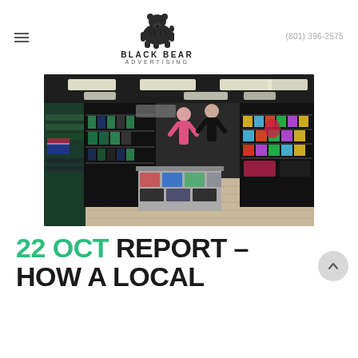≡   BLACK BEAR ADVERTISING   (801) 396-2575
[Figure (photo): Interior of a retail store with shelves of merchandise, display tables with folded clothing/apparel, mannequins wearing athletic wear, and overhead fluorescent lighting with wood-look flooring.]
22 OCT REPORT – HOW A LOCAL